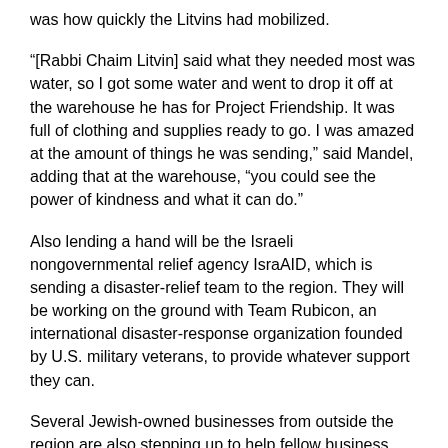was how quickly the Litvins had mobilized.
“[Rabbi Chaim Litvin] said what they needed most was water, so I got some water and went to drop it off at the warehouse he has for Project Friendship. It was full of clothing and supplies ready to go. I was amazed at the amount of things he was sending,” said Mandel, adding that at the warehouse, “you could see the power of kindness and what it can do.”
Also lending a hand will be the Israeli nongovernmental relief agency IsraAID, which is sending a disaster-relief team to the region. They will be working on the ground with Team Rubicon, an international disaster-response organization founded by U.S. military veterans, to provide whatever support they can.
Several Jewish-owned businesses from outside the region are also stepping up to help fellow business owners.
Mendel Mangel, who recently opened a fulfillment center in Cincinnati several hours away from the worst of the tornado damage, took to social media to get the word out about his offer: free warehouse space for businesses impacted by the tornado damage, particularly businesses who had “goods in transit and needed to be rerouted quickly, our warehouse could be a great